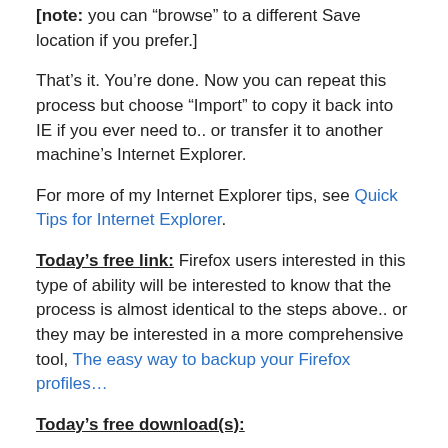[note: you can “browse” to a different Save location if you prefer.]
That’s it. You’re done. Now you can repeat this process but choose “Import” to copy it back into IE if you ever need to.. or transfer it to another machine’s Internet Explorer.
For more of my Internet Explorer tips, see Quick Tips for Internet Explorer.
Today’s free link: Firefox users interested in this type of ability will be interested to know that the process is almost identical to the steps above.. or they may be interested in a more comprehensive tool, The easy way to backup your Firefox profiles…
Today’s free download(s):